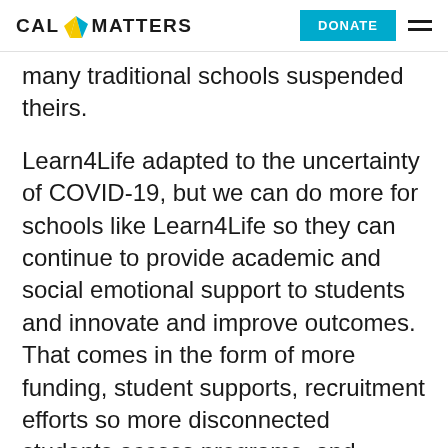CAL MATTERS | DONATE
many traditional schools suspended theirs.
Learn4Life adapted to the uncertainty of COVID-19, but we can do more for schools like Learn4Life so they can continue to provide academic and social emotional support to students and innovate and improve outcomes. That comes in the form of more funding, student supports, recruitment efforts so more disconnected students access programs, and flexibility and accountability to ensure schools meet the needs of students.
Policymakers and school leaders must foster